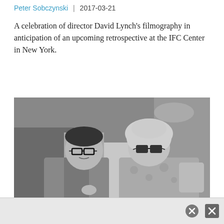Peter Sobczynski | 2017-03-21
A celebration of director David Lynch's filmography in anticipation of an upcoming retrospective at the IFC Center in New York.
[Figure (photo): Black and white photograph of two people — a man wearing thick-rimmed glasses and a blazer on the left, and a woman wearing large sunglasses and a floral blouse on the right. They appear to be in conversation indoors, with a patterned wallpaper visible in the background.]